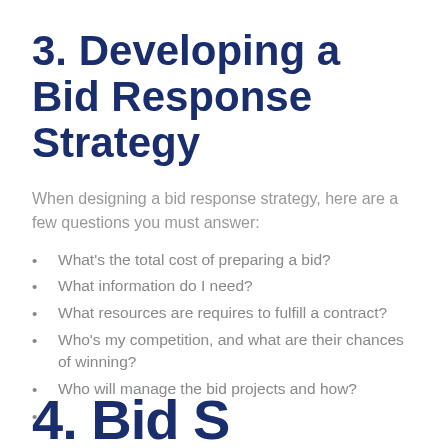3. Developing a Bid Response Strategy
When designing a bid response strategy, here are a few questions you must answer:
What's the total cost of preparing a bid?
What information do I need?
What resources are requires to fulfill a contract?
Who's my competition, and what are their chances of winning?
Who will manage the bid projects and how?
4. Bid S...